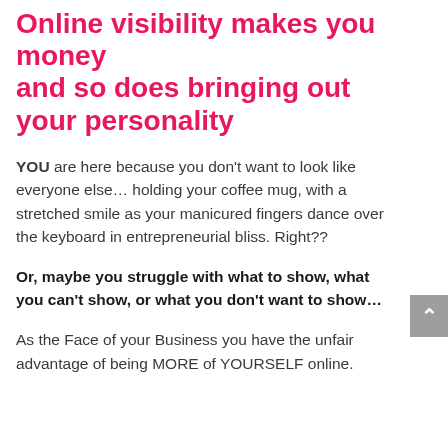Online visibility makes you money and so does bringing out your personality
YOU are here because you don’t want to look like everyone else… holding your coffee mug, with a stretched smile as your manicured fingers dance over the keyboard in entrepreneurial bliss. Right??
Or, maybe you struggle with what to show, what you can’t show, or what you don’t want to show…
As the Face of your Business you have the unfair advantage of being MORE of YOURSELF online.